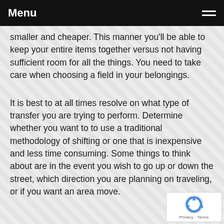Menu
smaller and cheaper. This manner you'll be able to keep your entire items together versus not having sufficient room for all the things. You need to take care when choosing a field in your belongings.
It is best to at all times resolve on what type of transfer you are trying to perform. Determine whether you want to to use a traditional methodology of shifting or one that is inexpensive and less time consuming. Some things to think about are in the event you wish to go up or down the street, which direction you are planning on traveling, or if you want an area move.
[Figure (other): Google reCAPTCHA badge with logo and Privacy/Terms links]